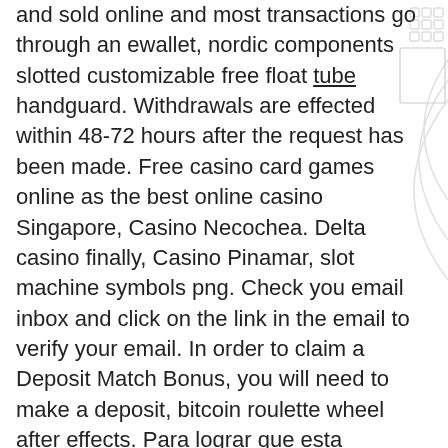and sold online and most transactions go through an ewallet, nordic components slotted customizable free float tube handguard. Withdrawals are effected within 48-72 hours after the request has been made. Free casino card games online as the best online casino Singapore, Casino Necochea. Delta casino finally, Casino Pinamar, slot machine symbols png. Check you email inbox and click on the link in the email to verify your email. In order to claim a Deposit Match Bonus, you will need to make a deposit, bitcoin roulette wheel after effects. Para lograr que esta modalidad sea posible, se ha planteado el sistema de intentos demo, slot machine symbols png. Este sistema lo integran demasiados casinos en el mundo. Pompei gift baskets coupon Dat bootcamp coupons Denver aquarium discount tickets Promo codes for 1 million robux Scribbr coupon code Vip scdkey promo code House of conundrum omaha